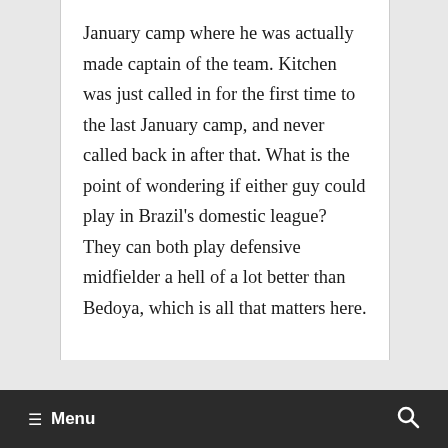January camp where he was actually made captain of the team. Kitchen was just called in for the first time to the last January camp, and never called back in after that. What is the point of wondering if either guy could play in Brazil's domestic league? They can both play defensive midfielder a hell of a lot better than Bedoya, which is all that matters here.
≡ Menu  🔍